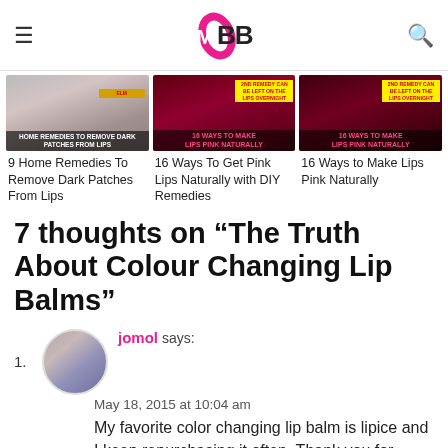IMBB logo with hamburger menu and search icon
[Figure (photo): Thumbnail image: Home Remedies to Remove Dark Patches from Lips]
[Figure (photo): Thumbnail image: 16 Ways to Get Pink Lips Naturally with DIY Remedies]
[Figure (photo): Thumbnail image: 16 Ways to Make Lips Pink Naturally]
9 Home Remedies To Remove Dark Patches From Lips
16 Ways To Get Pink Lips Naturally with DIY Remedies
16 Ways to Make Lips Pink Naturally
7 thoughts on “The Truth About Colour Changing Lip Balms”
jomol says:
May 18, 2015 at 10:04 am
My favorite color changing lip balm is lipice and I keep repurchasing it often. Thank you for